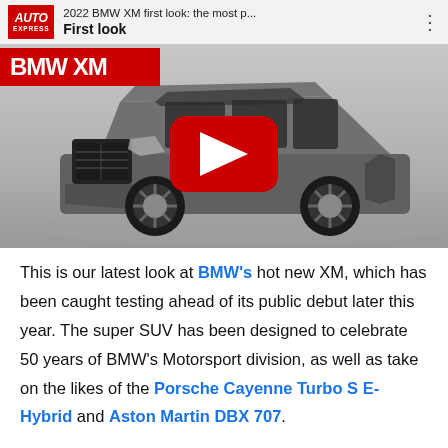[Figure (screenshot): Auto Express YouTube video thumbnail showing 2022 BMW XM first look. Header shows Auto Express logo, video title '2022 BMW XM first look: the most p...', and 'First look' label. Thumbnail shows a dark grey BMW XM concept SUV with large kidney grilles and a red YouTube play button overlay. A 'BMW XM' title banner appears on the left of the thumbnail.]
This is our latest look at BMW's hot new XM, which has been caught testing ahead of its public debut later this year. The super SUV has been designed to celebrate 50 years of BMW's Motorsport division, as well as take on the likes of the Porsche Cayenne Turbo S E-Hybrid and Aston Martin DBX 707.